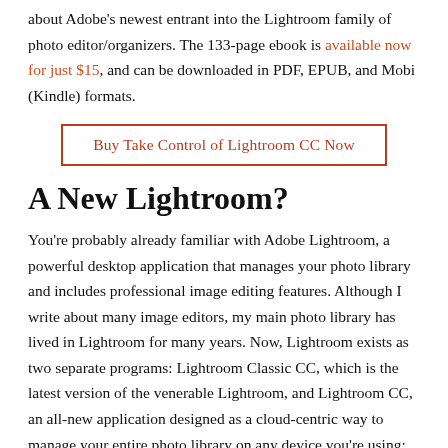about Adobe's newest entrant into the Lightroom family of photo editor/organizers. The 133-page ebook is available now for just $15, and can be downloaded in PDF, EPUB, and Mobi (Kindle) formats.
Buy Take Control of Lightroom CC Now
A New Lightroom?
You're probably already familiar with Adobe Lightroom, a powerful desktop application that manages your photo library and includes professional image editing features. Although I write about many image editors, my main photo library has lived in Lightroom for many years. Now, Lightroom exists as two separate programs: Lightroom Classic CC, which is the latest version of the venerable Lightroom, and Lightroom CC, an all-new application designed as a cloud-centric way to manage your entire photo library on any device you're using: